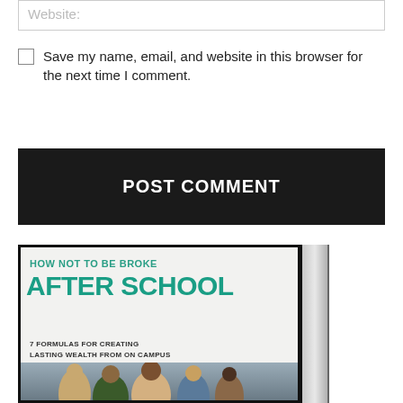Website:
Save my name, email, and website in this browser for the next time I comment.
POST COMMENT
[Figure (photo): Book cover for 'How Not to Be Broke After School: 7 Formulas for Creating Lasting Wealth From On Campus' shown as a 3D book with spine, featuring teal/green title text and a photo of smiling students on campus at the bottom.]